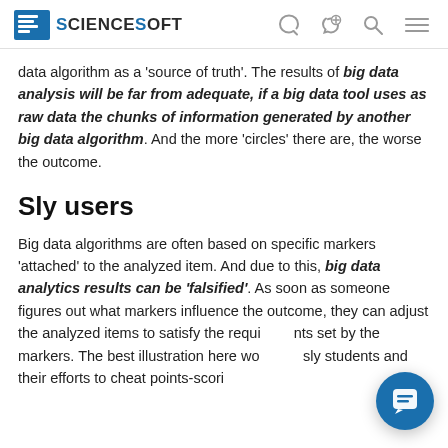ScienceSoft
data algorithm as a 'source of truth'. The results of big data analysis will be far from adequate, if a big data tool uses as raw data the chunks of information generated by another big data algorithm. And the more 'circles' there are, the worse the outcome.
Sly users
Big data algorithms are often based on specific markers 'attached' to the analyzed item. And due to this, big data analytics results can be 'falsified'. As soon as someone figures out what markers influence the outcome, they can adjust the analyzed items to satisfy the requirements set by the markers. The best illustration here would be sly students and their efforts to cheat points-scoring